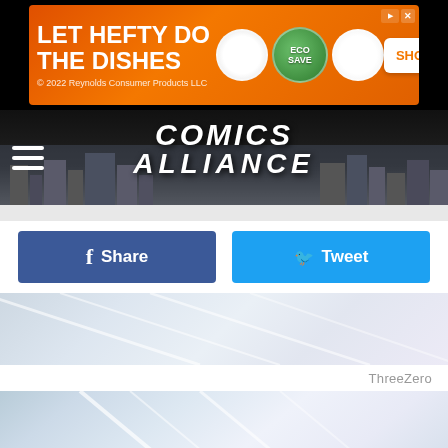[Figure (photo): Hefty dish soap advertisement banner: orange background with 'LET HEFTY DO THE DISHES' text and product images, SHOP NOW button]
[Figure (logo): Comics Alliance website header with logo text and city skyline silhouette, hamburger menu icon on left]
[Figure (screenshot): Facebook Share and Twitter Tweet social sharing buttons]
[Figure (photo): Light blue/white abstract background image area with diagonal light streaks]
ThreeZero
[Figure (photo): Close-up abstract white/light blue image with diagonal glass-like streaks, labeled 'Original Image' at bottom]
[Figure (photo): BitLife mobile game advertisement: red background with emojis and 'BitLife REAL CHOICES' branding]